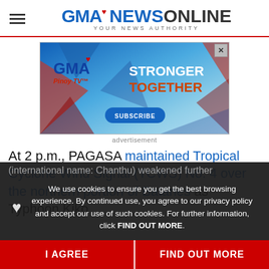GMA NEWS ONLINE — YOUR NEWS AUTHORITY
[Figure (screenshot): GMA Pinoy TV advertisement banner with 'Stronger Together' text and Subscribe button]
advertisement
At 2 p.m., PAGASA maintained Tropical Cyclone Wind Signal (TCWS) No. 4 over the northern portion of Batanes as Typhoon Kiko (international name: Chanthu) weakened further
We use cookies to ensure you get the best browsing experience. By continued use, you agree to our privacy policy and accept our use of such cookies. For further information, click FIND OUT MORE.
I AGREE
FIND OUT MORE